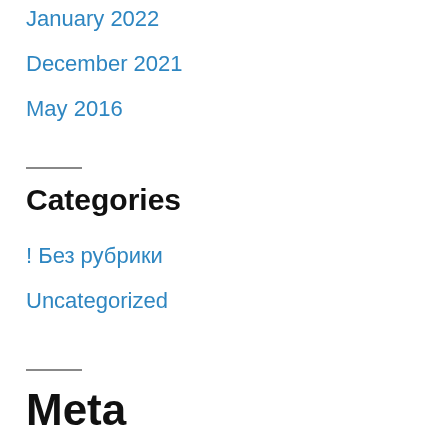January 2022
December 2021
May 2016
Categories
! Без рубрики
Uncategorized
Meta